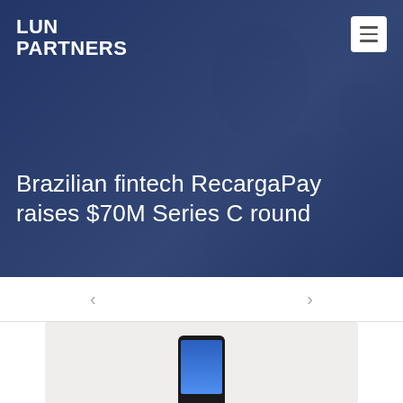[Figure (photo): Hero banner with blue-toned silhouette of a person in the background, dark navy blue overlay]
LUN PARTNERS
[Figure (illustration): White menu hamburger icon button in top right corner]
Brazilian fintech RecargaPay raises $70M Series C round
[Figure (screenshot): Navigation row with left and right arrow chevrons for carousel navigation]
[Figure (photo): Partial view of a smartphone showing a mobile app interface on a light gray background]